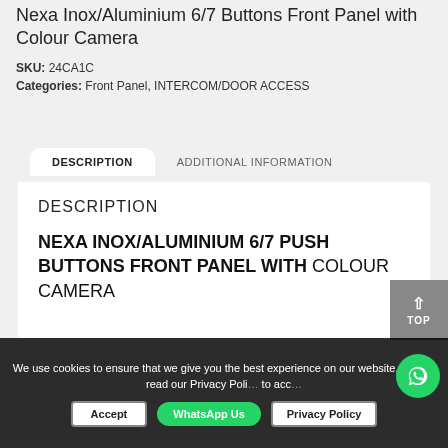Nexa Inox/Aluminium 6/7 Buttons Front Panel with Colour Camera
SKU: 24CA1C
Categories: Front Panel, INTERCOM/DOOR ACCESS
DESCRIPTION
ADDITIONAL INFORMATION
DESCRIPTION
NEXA INOX/ALUMINIUM 6/7 PUSH BUTTONS FRONT PANEL WITH COLOUR CAMERA
We use cookies to ensure that we give you the best experience on our website. Please read our Privacy Policy to continue to accept
Accept
Privacy Policy
WhatsApp Us
TOP